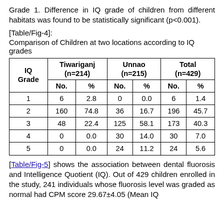Grade 1. Difference in IQ grade of children from different habitats was found to be statistically significant (p<0.001).
[Table/Fig-4]:
Comparison of Children at two locations according to IQ grades
| IQ Grade | Tiwariganj (n=214) No. | Tiwariganj (n=214) % | Unnao (n=215) No. | Unnao (n=215) % | Total (n=429) No. | Total (n=429) % |
| --- | --- | --- | --- | --- | --- | --- |
| 1 | 6 | 2.8 | 0 | 0.0 | 6 | 1.4 |
| 2 | 160 | 74.8 | 36 | 16.7 | 196 | 45.7 |
| 3 | 48 | 22.4 | 125 | 58.1 | 173 | 40.3 |
| 4 | 0 | 0.0 | 30 | 14.0 | 30 | 7.0 |
| 5 | 0 | 0.0 | 24 | 11.2 | 24 | 5.6 |
[Table/Fig-5] shows the association between dental fluorosis and Intelligence Quotient (IQ). Out of 429 children enrolled in the study, 241 individuals whose fluorosis level was graded as normal had CPM score 29.67±4.05 (Mean IQ